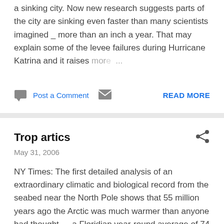AP / Washington Post: Everyone has known New Orleans is a sinking city. Now new research suggests parts of the city are sinking even faster than many scientists imagined _ more than an inch a year. That may explain some of the levee failures during Hurricane Katrina and it raises more ...
Post a Comment   READ MORE
Trop artics
May 31, 2006
NY Times: The first detailed analysis of an extraordinary climatic and biological record from the seabed near the North Pole shows that 55 million years ago the Arctic was much warmer than anyone had thought — a Floridian year-round average of 74 degrees Fahrenheit. The findings, in ...